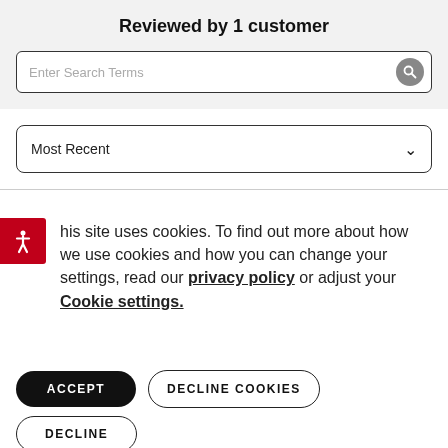Reviewed by 1 customer
Enter Search Terms
Most Recent
This site uses cookies. To find out more about how we use cookies and how you can change your settings, read our privacy policy or adjust your Cookie settings.
ACCEPT
DECLINE COOKIES
DECLINE